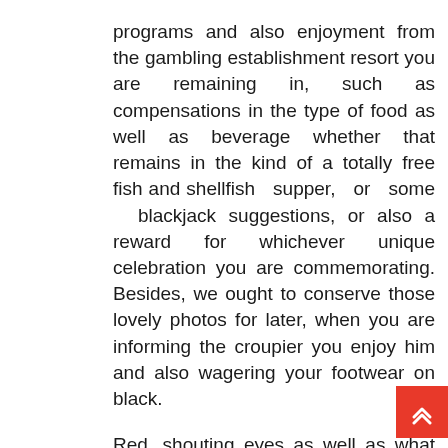programs and also enjoyment from the gambling establishment resort you are remaining in, such as compensations in the type of food as well as beverage whether that remains in the kind of a totally free fish and shellfish supper, or some blackjack suggestions, or also a reward for whichever unique celebration you are commemorating. Besides, we ought to conserve those lovely photos for later, when you are informing the croupier you enjoy him and also wagering your footwear on black.
Red, shouting eyes as well as what might seem like half the Sahara up your nostrils is additionally most likely to make your mascara spot and also delegate your difficult job mixing that eye shadow to excellence right into a huge vibrant mess diminishing your cheeks.